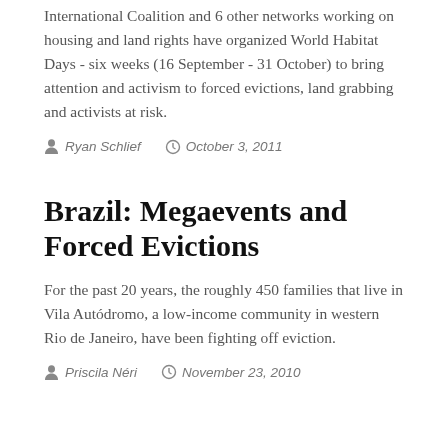International Coalition and 6 other networks working on housing and land rights have organized World Habitat Days - six weeks (16 September - 31 October) to bring attention and activism to forced evictions, land grabbing and activists at risk.
Ryan Schlief   October 3, 2011
Brazil: Megaevents and Forced Evictions
For the past 20 years, the roughly 450 families that live in Vila Autódromo, a low-income community in western Rio de Janeiro, have been fighting off eviction.
Priscila Néri   November 23, 2010